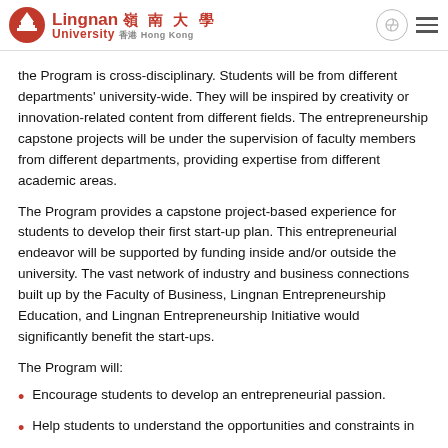Lingnan 嶺南大學 University 香港 Hong Kong
the Program is cross-disciplinary. Students will be from different departments' university-wide. They will be inspired by creativity or innovation-related content from different fields. The entrepreneurship capstone projects will be under the supervision of faculty members from different departments, providing expertise from different academic areas.
The Program provides a capstone project-based experience for students to develop their first start-up plan. This entrepreneurial endeavor will be supported by funding inside and/or outside the university. The vast network of industry and business connections built up by the Faculty of Business, Lingnan Entrepreneurship Education, and Lingnan Entrepreneurship Initiative would significantly benefit the start-ups.
The Program will:
Encourage students to develop an entrepreneurial passion.
Help students to understand the opportunities and constraints in